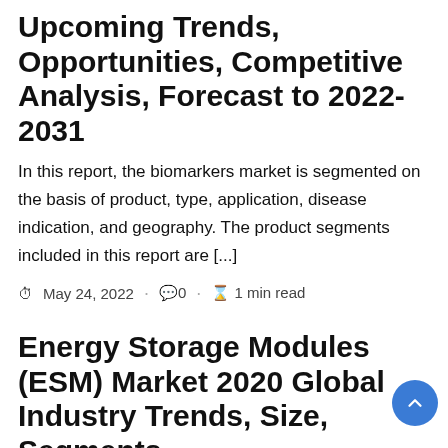Upcoming Trends, Opportunities, Competitive Analysis, Forecast to 2022-2031
In this report, the biomarkers market is segmented on the basis of product, type, application, disease indication, and geography. The product segments included in this report are [...]
May 24, 2022 · 0 · 1 min read
Energy Storage Modules (ESM) Market 2020 Global Industry Trends, Size, Segments,